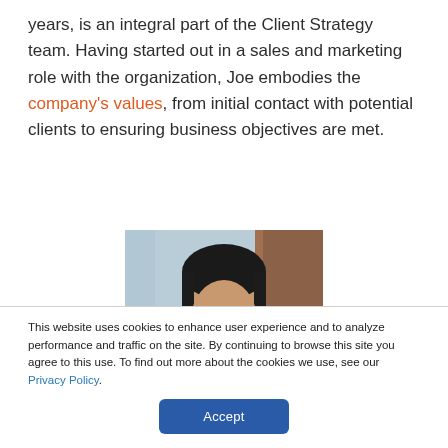years, is an integral part of the Client Strategy team. Having started out in a sales and marketing role with the organization, Joe embodies the company's values, from initial contact with potential clients to ensuring business objectives are met.
[Figure (photo): Portrait photo of a man with dark hair and glasses, partially cropped showing head and top of shoulders, against a light blue and brown background.]
This website uses cookies to enhance user experience and to analyze performance and traffic on the site. By continuing to browse this site you agree to this use. To find out more about the cookies we use, see our Privacy Policy.